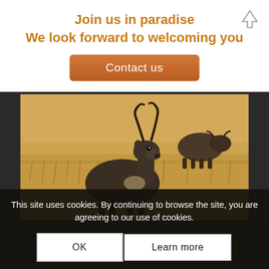Join us in paradise
We look forward to welcoming you
Contact us
[Figure (photo): A waterbuck antelope standing in golden savanna grassland in the foreground, with a cape buffalo walking in the background. Wildlife safari scene.]
This site uses cookies. By continuing to browse the site, you are agreeing to our use of cookies.
OK
Learn more